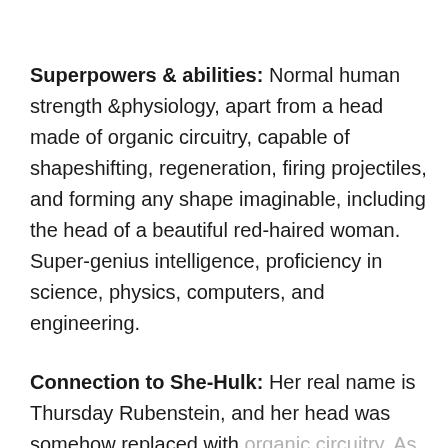Superpowers & abilities: Normal human strength &physiology, apart from a head made of organic circuitry, capable of shapeshifting, regeneration, firing projectiles, and forming any shape imaginable, including the head of a beautiful red-haired woman. Super-genius intelligence, proficiency in science, physics, computers, and engineering.
Connection to She-Hulk: Her real name is Thursday Rubenstein, and her head was somehow replaced with organic circuitry. As a member of the villainous organization called the Headmen, Ruby tried to steal